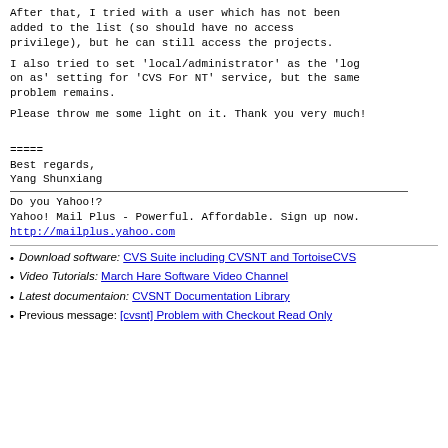After that, I tried with a user which has not been added to the list (so should have no access privilege), but he can still access the projects.
I also tried to set 'local/administrator' as the 'log on as' setting for 'CVS For NT' service, but the same problem remains.
Please throw me some light on it. Thank you very much!
=====
Best regards,
Yang Shunxiang
Do you Yahoo!?
Yahoo! Mail Plus - Powerful. Affordable. Sign up now.
http://mailplus.yahoo.com
Download software: CVS Suite including CVSNT and TortoiseCVS
Video Tutorials: March Hare Software Video Channel
Latest documentaion: CVSNT Documentation Library
Previous message: [cvsnt] Problem with Checkout Read Only